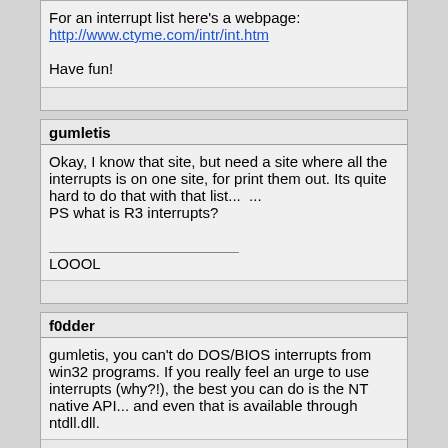For an interrupt list here's a webpage:
http://www.ctyme.com/intr/int.htm

Have fun!
gumletis
Okay, I know that site, but need a site where all the interrupts is on one site, for print them out. Its quite hard to do that with that list...  ...
PS what is R3 interrupts?

______________
LOOOL
f0dder
gumletis, you can't do DOS/BIOS interrupts from win32 programs. If you really feel an urge to use interrupts (why?!), the best you can do is the NT native API... and even that is available through ntdll.dll.
< Last Thread | Next Thread >
Forum Rules: